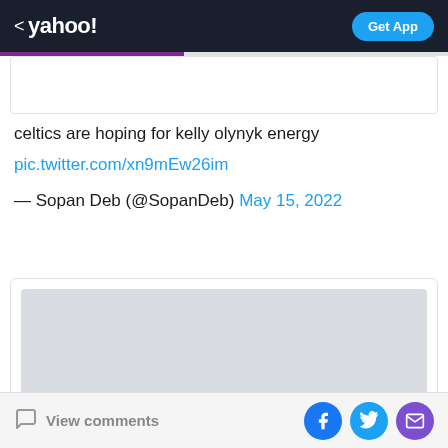< yahoo! — Get App
[Figure (screenshot): Top card placeholder area (partially visible, white card with border)]
celtics are hoping for kelly olynyk energy
pic.twitter.com/xn9mEw26im
— Sopan Deb (@SopanDeb) May 15, 2022
[Figure (screenshot): Embedded tweet card with grey image placeholder and two loading skeleton text lines]
View comments — social share buttons: Facebook, Twitter, Mail